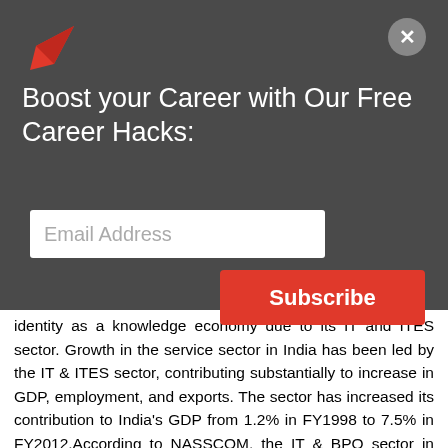[Figure (logo): Red arrow/navigation logo pointing upper-right]
[Figure (other): Gray circular close button with white X]
Boost your Career with Our Free Career Hacks:
[Figure (other): Email Address input field (white rectangle)]
[Figure (other): Red Subscribe button]
identity as a knowledge economy due to its IT and ITES sector. Growth in the service sector in India has been led by the IT & ITES sector, contributing substantially to increase in GDP, employment, and exports. The sector has increased its contribution to India's GDP from 1.2% in FY1998 to 7.5% in FY2012.According to NASSCOM, the IT & BPO sector in India aggregated revenues of US$100 billion in FY2012, where export and domestic revenue stood at US $69.1 billion and US $31.7 billion respectively, growing by over 9%. The major cities that account for about nearly 90% of this sectors exports are Bangalore, Chennai, Hyderabad, Delhi, Mumbai and Kolkata. Bangalore is considered to be the Silicon Valley of India